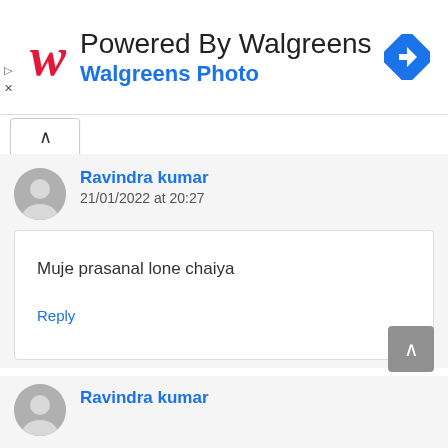[Figure (screenshot): Walgreens ad banner with red cursive W logo, text 'Powered By Walgreens' and 'Walgreens Photo' in blue, and a blue diamond navigation icon on the right]
Ravindra kumar
21/01/2022 at 20:27
Muje prasanal lone chaiya
Reply
Ravindra kumar